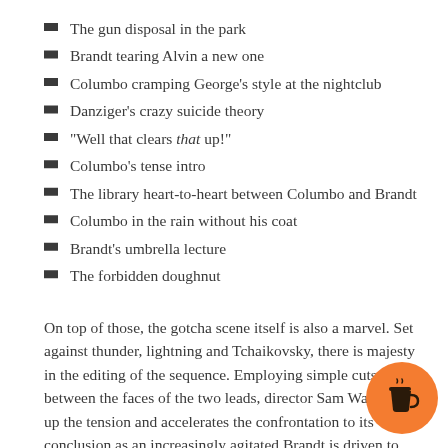The gun disposal in the park
Brandt tearing Alvin a new one
Columbo cramping George's style at the nightclub
Danziger's crazy suicide theory
“Well that clears that up!”
Columbo's tense intro
The library heart-to-heart between Columbo and Brandt
Columbo in the rain without his coat
Brandt's umbrella lecture
The forbidden doughnut
On top of those, the gotcha scene itself is also a marvel. Set against thunder, lightning and Tchaikovsky, there is majesty in the editing of the sequence. Employing simple cuts between the faces of the two leads, director Sam Wanamaker up the tension and accelerates the confrontation to its conclusion as an increasingly agitated Brandt is driven to